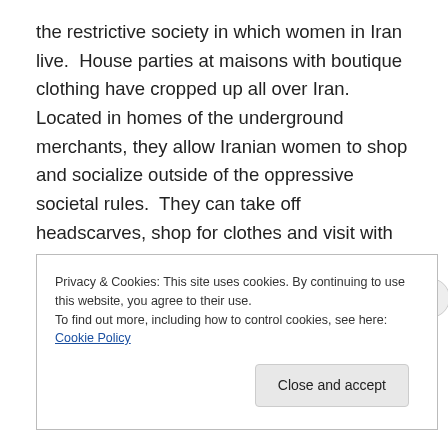the restrictive society in which women in Iran live.  House parties at maisons with boutique clothing have cropped up all over Iran.  Located in homes of the underground merchants, they allow Iranian women to shop and socialize outside of the oppressive societal rules.  They can take off headscarves, shop for clothes and visit with friends.   And bring a type of societal freedom to their lives.
Privacy & Cookies: This site uses cookies. By continuing to use this website, you agree to their use.
To find out more, including how to control cookies, see here: Cookie Policy